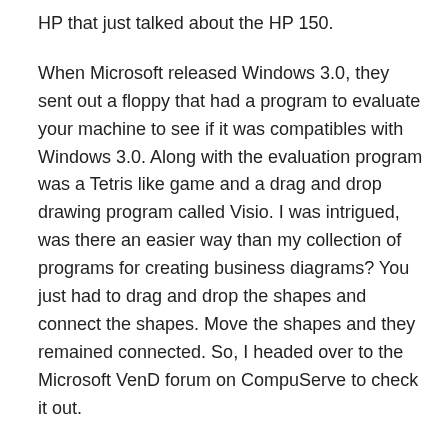HP that just talked about the HP 150.
When Microsoft released Windows 3.0, they sent out a floppy that had a program to evaluate your machine to see if it was compatibles with Windows 3.0. Along with the evaluation program was a Tetris like game and a drag and drop drawing program called Visio. I was intrigued, was there an easier way than my collection of programs for creating business diagrams? You just had to drag and drop the shapes and connect the shapes. Move the shapes and they remained connected. So, I headed over to the Microsoft VenD forum on CompuServe to check it out.
In the old days, customer service was one on one. you wrote or phoned during busines hours and hopefully got your questions answered. CompuServe was a different